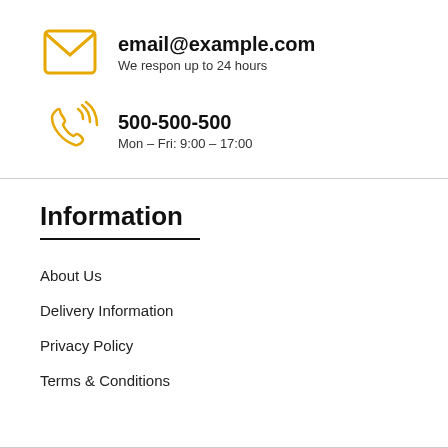email@example.com
We respon up to 24 hours
500-500-500
Mon - Fri: 9:00 - 17:00
Information
About Us
Delivery Information
Privacy Policy
Terms & Conditions